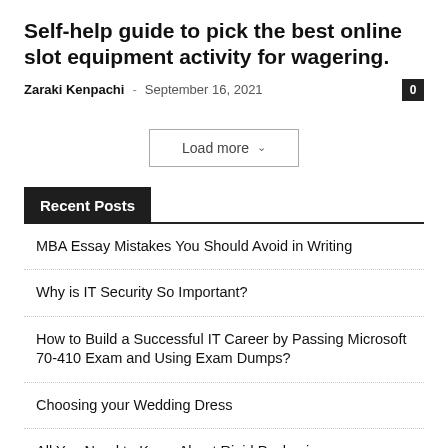Self-help guide to pick the best online slot equipment activity for wagering.
Zaraki Kenpachi – September 16, 2021
Load more
Recent Posts
MBA Essay Mistakes You Should Avoid in Writing
Why is IT Security So Important?
How to Build a Successful IT Career by Passing Microsoft 70-410 Exam and Using Exam Dumps?
Choosing your Wedding Dress
All You Need to Know About Rigid Packaging